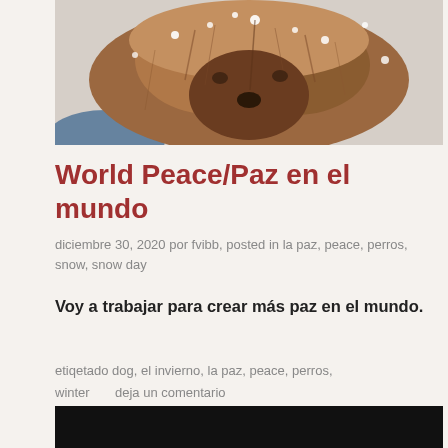[Figure (photo): Close-up photo of a fluffy brown/auburn dog with snow on its fur, viewed from above. The dog appears to be wearing a blue garment.]
World Peace/Paz en el mundo
diciembre 30, 2020 por fvibb, posted in la paz, peace, perros, snow, snow day
Voy a trabajar para crear más paz en el mundo.
etiqetado dog, el invierno, la paz, peace, perros, winter      deja un comentario
[Figure (photo): Bottom portion of another image, showing a dark/black background, partially visible.]